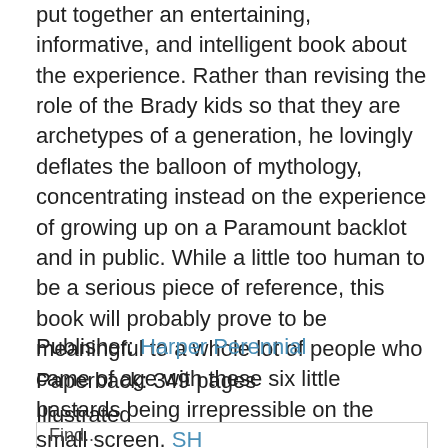put together an entertaining, informative, and intelligent book about the experience. Rather than revising the role of the Brady kids so that they are archetypes of a generation, he lovingly deflates the balloon of mythology, concentrating instead on the experience of growing up on a Paramount backlot and in public. While a little too human to be a serious piece of reference, this book will probably prove to be meaningful to a whole lot of people who came of age with these six little bastards being irrepressible on the small screen. SH
Publisher: Harper Perennial
Paperback: 349 pages
Illustrated
Find...